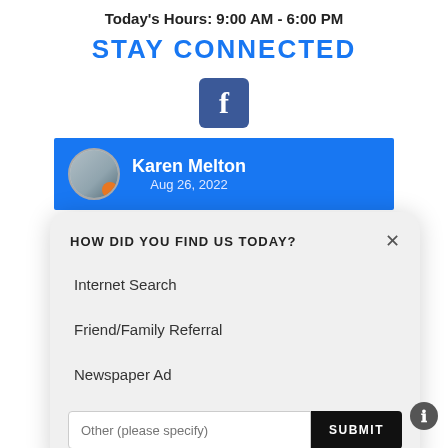Today's Hours: 9:00 AM - 6:00 PM
STAY CONNECTED
[Figure (logo): Facebook 'f' logo icon, blue square with white f]
[Figure (screenshot): Karen Melton Facebook post header, Aug 26, 2022, profile photo with orange badge]
HOW DID YOU FIND US TODAY?
Internet Search
Friend/Family Referral
Newspaper Ad
Other (please specify)
SUBMIT